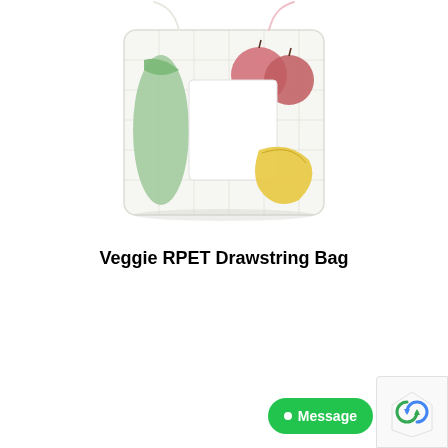[Figure (photo): A mesh/net reusable RPET drawstring produce bag containing vegetables and fruits: green leeks/bok choy, red/pink apples, a white label tag, and yellow bananas. The bag is placed on a white background.]
Veggie RPET Drawstring Bag
Add to basket